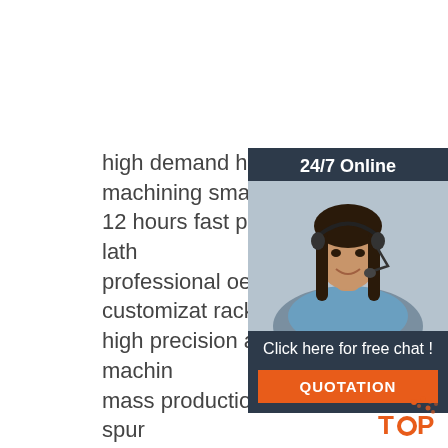high demand high precision cnc machining small parts
12 hours fast prototyping cadillac lath
professional oem service customization rack price
high precision aluminum cnc machining
mass production cnc machining spur
cnc machining anodized aluminum s
hardware ship accessories aluminum machining turning part
standard transmission components b turned components
custom machined stainless steel gears auto parts
micro pinion gear parts gear manufacturers
factory professional custom aluminum die casting
cnc machining auto parts
oem alloy steel forging hot forged pinion ring gear
[Figure (photo): Customer support chat widget with a woman wearing a headset, '24/7 Online' header, 'Click here for free chat!' text, and orange QUOTATION button]